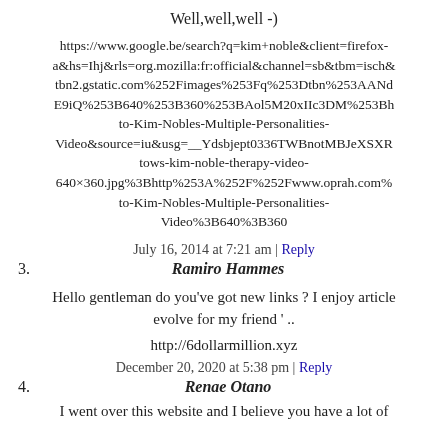Well,well,well -)
https://www.google.be/search?q=kim+noble&client=firefox-a&hs=Ihj&rls=org.mozilla:fr:official&channel=sb&tbm=isch&tbn2.gstatic.com%252Fimages%253Fq%253Dtbn%253AANd E9iQ%253B640%253B360%253BAol5M20xIIc3DM%253Bh to-Kim-Nobles-Multiple-Personalities-Video&source=iu&usg=__Ydsbjept0336TWBnotMBJeXSXR tows-kim-noble-therapy-video-640×360.jpg%3Bhttp%253A%252F%252Fwww.oprah.com% to-Kim-Nobles-Multiple-Personalities-Video%3B640%3B360
July 16, 2014 at 7:21 am | Reply
3. Ramiro Hammes
Hello gentleman do you’ve got new links ? I enjoy article evolve for my friend ‘ ..
http://6dollarmillion.xyz
December 20, 2020 at 5:38 pm | Reply
4. Renae Otano
I went over this website and I believe you have a lot of